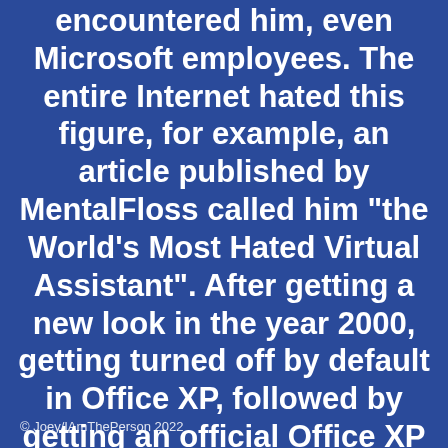encountered him, even Microsoft employees. The entire Internet hated this figure, for example, an article published by MentalFloss called him "the World's Most Hated Virtual Assistant". After getting a new look in the year 2000, getting turned off by default in Office XP, followed by getting an official Office XP ad where Clippy is talked down to by his family at the dinner table aswell as Microsoft calling him such things as "%@$*#!" and "Mr.Annoying" on their website,
© Joey/IAmThePerson 2022